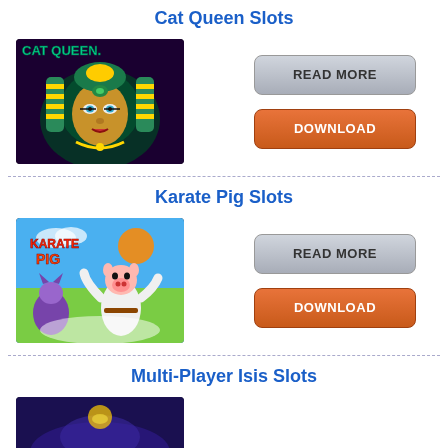Cat Queen Slots
[Figure (illustration): Cat Queen slot machine game image showing an Egyptian queen with green headdress and golden jewelry on dark background]
READ MORE
DOWNLOAD
Karate Pig Slots
[Figure (illustration): Karate Pig slot machine game image showing an animated pig in a karate outfit on a colorful background with the text Karate Pig]
READ MORE
DOWNLOAD
Multi-Player Isis Slots
[Figure (illustration): Multi-Player Isis slot machine game image partially visible at the bottom, dark blue/purple background]